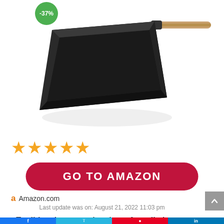[Figure (photo): A rectangular Japanese tamagoyaki (rolled egg) pan with a dark non-stick surface and a wooden handle, shown at an angle on a white background. A green discount badge showing -37% is visible in the upper left.]
[Figure (other): Four and a half orange star rating icons]
GO TO AMAZON
Amazon.com
Last update was on: August 21, 2022 11:03 pm
Traditional rectangular shape for rolled egg